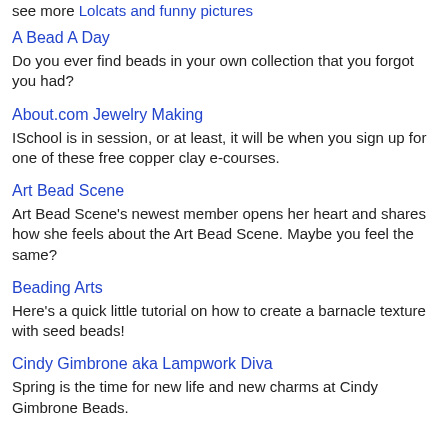see more Lolcats and funny pictures
A Bead A Day
Do you ever find beads in your own collection that you forgot you had?
About.com Jewelry Making
ISchool is in session, or at least, it will be when you sign up for one of these free copper clay e-courses.
Art Bead Scene
Art Bead Scene's newest member opens her heart and shares how she feels about the Art Bead Scene. Maybe you feel the same?
Beading Arts
Here's a quick little tutorial on how to create a barnacle texture with seed beads!
Cindy Gimbrone aka Lampwork Diva
Spring is the time for new life and new charms at Cindy Gimbrone Beads.